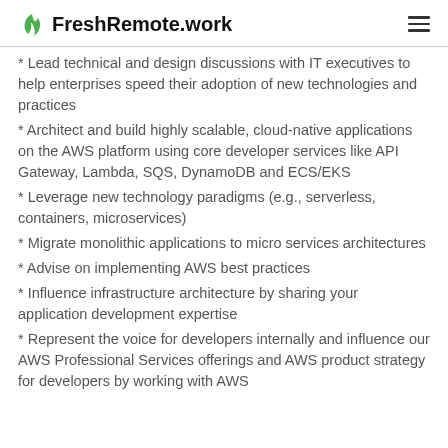FreshRemote.work
* Lead technical and design discussions with IT executives to help enterprises speed their adoption of new technologies and practices
* Architect and build highly scalable, cloud-native applications on the AWS platform using core developer services like API Gateway, Lambda, SQS, DynamoDB and ECS/EKS
* Leverage new technology paradigms (e.g., serverless, containers, microservices)
* Migrate monolithic applications to micro services architectures
* Advise on implementing AWS best practices
* Influence infrastructure architecture by sharing your application development expertise
* Represent the voice for developers internally and influence our AWS Professional Services offerings and AWS product strategy for developers by working with AWS